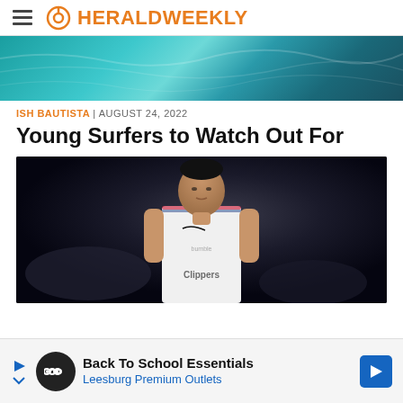HERALDWEEKLY
[Figure (photo): Teal ocean water banner image]
ISH BAUTISTA | AUGUST 24, 2022
Young Surfers to Watch Out For
[Figure (photo): Basketball player in LA Clippers white jersey against dark background]
Back To School Essentials
Leesburg Premium Outlets